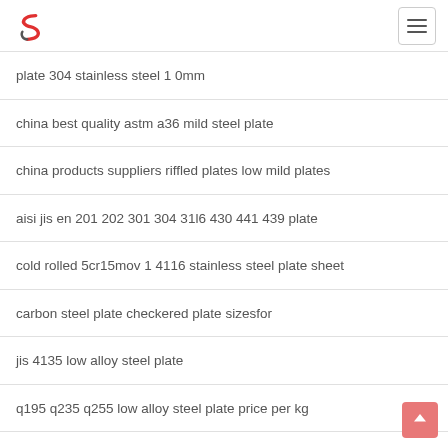Logo and navigation menu
plate 304 stainless steel 1 0mm
china best quality astm a36 mild steel plate
china products suppliers riffled plates low mild plates
aisi jis en 201 202 301 304 31l6 430 441 439 plate
cold rolled 5cr15mov 1 4116 stainless steel plate sheet
carbon steel plate checkered plate sizesfor
jis 4135 low alloy steel plate
q195 q235 q255 low alloy steel plate price per kg
sus304 price per kg stainless steel plates